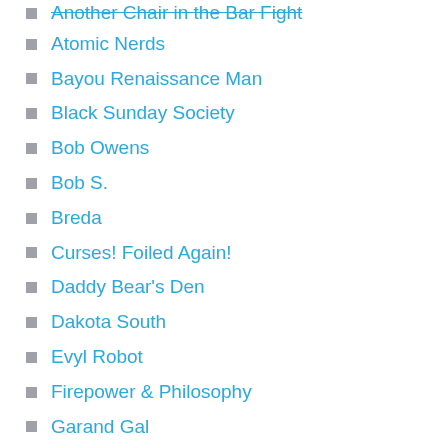Another Chair in the Bar Fight
Atomic Nerds
Bayou Renaissance Man
Black Sunday Society
Bob Owens
Bob S.
Breda
Curses! Foiled Again!
Daddy Bear's Den
Dakota South
Evyl Robot
Firepower & Philosophy
Garand Gal
Gets to The Range...